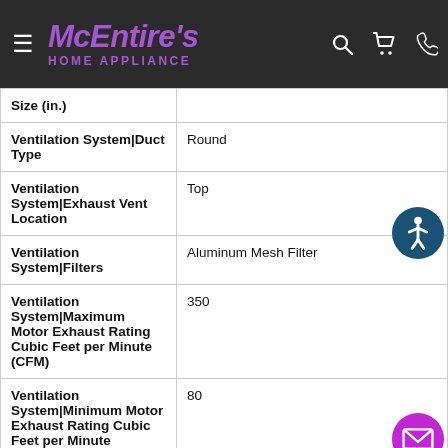McEntire's HOME APPLIANCE
| Specification | Value |
| --- | --- |
| Size (in.) |  |
| Ventilation System|Duct Type | Round |
| Ventilation System|Exhaust Vent Location | Top |
| Ventilation System|Filters | Aluminum Mesh Filter |
| Ventilation System|Maximum Motor Exhaust Rating Cubic Feet per Minute (CFM) | 350 |
| Ventilation System|Minimum Motor Exhaust Rating Cubic Feet per Minute | 80 |